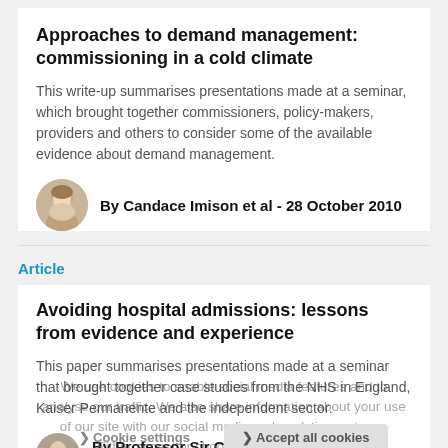Approaches to demand management: commissioning in a cold climate
This write-up summarises presentations made at a seminar, which brought together commissioners, policy-makers, providers and others to consider some of the available evidence about demand management.
By Candace Imison et al - 28 October 2010
Article
Avoiding hospital admissions: lessons from evidence and experience
This paper summarises presentations made at a seminar that brought together case studies from the NHS in England, Kaiser Permanente and the independent sector.
By Professor Sir Chris Ham et al - 28 October